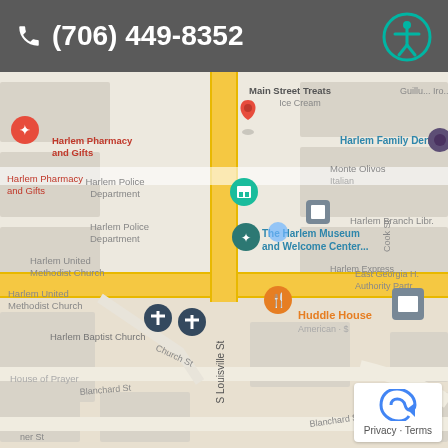(706) 449-8352
[Figure (map): Google Maps screenshot showing downtown Harlem, GA area. Visible locations include Harlem Pharmacy and Gifts, Harlem Family Dental, Harlem Police Department, The Harlem Museum and Welcome Center, Harlem Branch Library, Harlem United Methodist Church, Harlem Baptist Church, Huddle House (American $), Monte Olivos Italian, Main Street Treats Ice Cream, East Georgia H Authority Partr, House of Prayer. Streets visible include S Louisville St, Church St, Blanchard St, Cook St. A red location pin marker is visible near the center intersection.]
Privacy · Terms